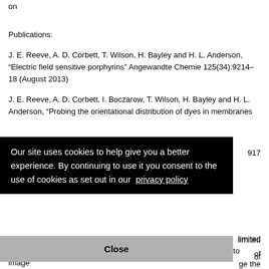on
Publications:
J. E. Reeve, A. D. Corbett, T. Wilson, H. Bayley and H. L. Anderson, “Electric field sensitive porphyrins” Angewandte Chemie 125(34):9214–18 (August 2013)
J. E. Reeve, A. D. Corbett, I. Boczarow, T. Wilson, H. Bayley and H. L. Anderson, “Probing the orientational distribution of dyes in membranes … 917
[Figure (screenshot): Cookie consent overlay with black background reading: 'Our site uses cookies to help give you a better experience. By continuing to use it you consent to the use of cookies as set out in our privacy policy' and a Close button]
… limited … of … ge the outside world onto the retina. However, when using these lenses to image